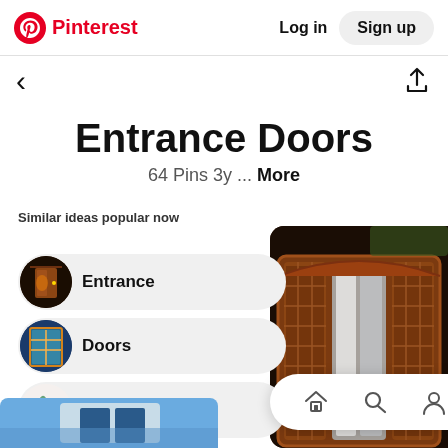Pinterest · Log in · Sign up
Entrance Doors
64 Pins 3y ... More
Similar ideas popular now
Entrance
Doors
Design
[Figure (photo): Decorative wooden entrance door with carved lattice panels and curtains visible behind glass panels]
[Figure (photo): Bottom strip showing partial images of additional door pins]